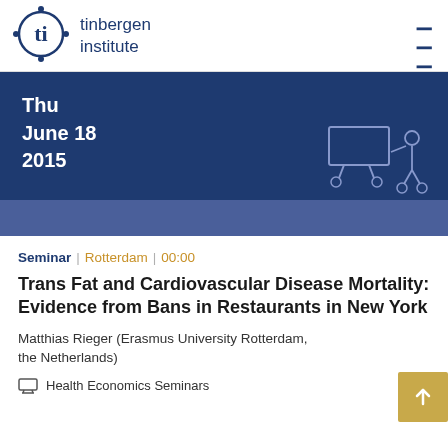[Figure (logo): Tinbergen Institute logo with stylized figures and text 'tinbergen institute']
tinbergen institute
[Figure (illustration): Dark blue banner with date Thu June 18 2015 and illustration of person presenting at a board on wheels]
Seminar | Rotterdam | 00:00
Trans Fat and Cardiovascular Disease Mortality: Evidence from Bans in Restaurants in New York
Matthias Rieger (Erasmus University Rotterdam, the Netherlands)
Health Economics Seminars